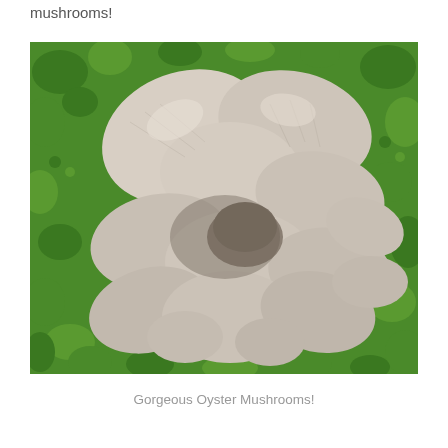mushrooms!
[Figure (photo): Cluster of white oyster mushrooms on a bed of bright green herbs/leaves, photographed from above]
Gorgeous Oyster Mushrooms!